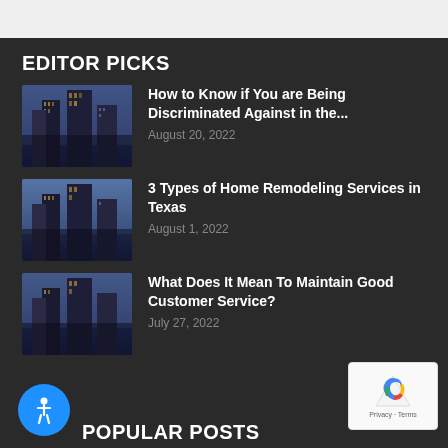EDITOR PICKS
How to Know if You are Being Discriminated Against in the... | August 20, 2022
3 Types of Home Remodeling Services in Texas | August 1, 2022
What Does It Mean To Maintain Good Customer Service? | July 27, 2022
POPULAR POSTS